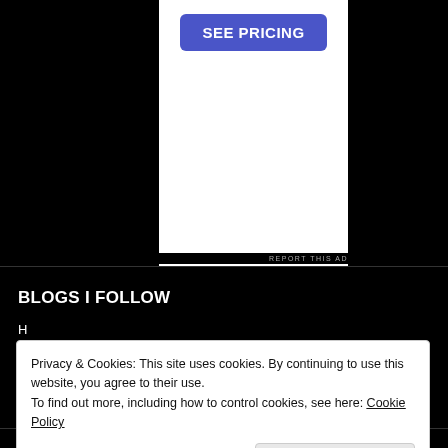[Figure (screenshot): Advertisement panel with white background and blue 'SEE PRICING' button, centered on black background]
REPORT THIS AD
BLOGS I FOLLOW
Privacy & Cookies: This site uses cookies. By continuing to use this website, you agree to their use.
To find out more, including how to control cookies, see here: Cookie Policy
Close and accept
The Bar Belle